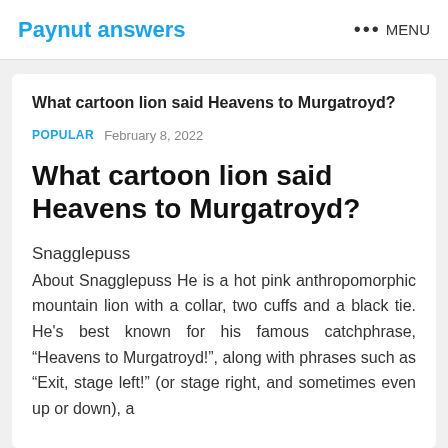Paynut answers   ••• MENU
What cartoon lion said Heavens to Murgatroyd?
POPULAR   February 8, 2022
What cartoon lion said Heavens to Murgatroyd?
Snagglepuss
About Snagglepuss He is a hot pink anthropomorphic mountain lion with a collar, two cuffs and a black tie. He's best known for his famous catchphrase, “Heavens to Murgatroyd!”, along with phrases such as “Exit, stage left!” (or stage right, and sometimes even up or down), a